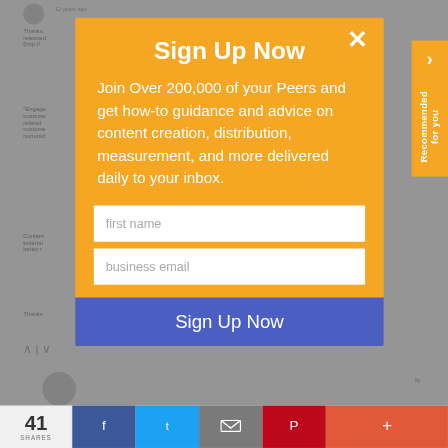[Figure (screenshot): Background webpage content showing comments section with text about engagement and content marketing, partially obscured by modal overlay]
Sign Up Now
Join Over 200,000 of your Peers and get how-to guidance and advice on content creation, distribution, measurement, and more delivered daily to your inbox.
first name
business email
Sign Up Now
41 SHARES
Recommended for you